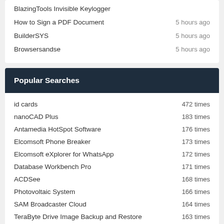BlazingTools Invisible Keylogger
How to Sign a PDF Document — 5 hours ago
BuilderSYS — 5 hours ago
Browsersandse — 5 hours ago
Popular Searches
id cards — 472 times
nanoCAD Plus — 183 times
Antamedia HotSpot Software — 176 times
Elcomsoft Phone Breaker — 173 times
Elcomsoft eXplorer for WhatsApp — 172 times
Database Workbench Pro — 171 times
ACDSee — 168 times
Photovoltaic System — 166 times
SAM Broadcaster Cloud — 164 times
TeraByte Drive Image Backup and Restore — 163 times
Product Details